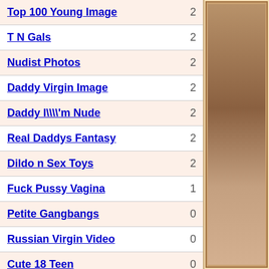Top 100 Young Image  2
T N Gals  2
Nudist Photos  2
Daddy Virgin Image  2
Daddy I\\'m Nude  2
Real Daddys Fantasy  2
Dildo n Sex Toys  2
Fuck Pussy Vagina  1
Petite Gangbangs  0
Russian Virgin Video  0
Cute 18 Teen  0
Real Daddy Brothel  0
[Figure (photo): Photo of a bald man with a person, partially visible on the right side of the page]